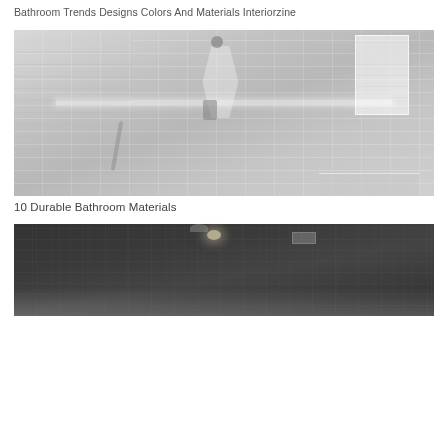Bathroom Trends Designs Colors And Materials Interiorzine
[Figure (photo): Modern walk-in shower with white/gray tile walls including horizontal brick-pattern tiles and hexagonal accent tiles, rain shower head, handheld shower, LED niche lighting, and corner bench with window]
10 Durable Bathroom Materials
[Figure (photo): Dark modern shower interior with dark gray concrete-look walls, ceiling rain shower head, and recessed ceiling light with steam/mist visible]